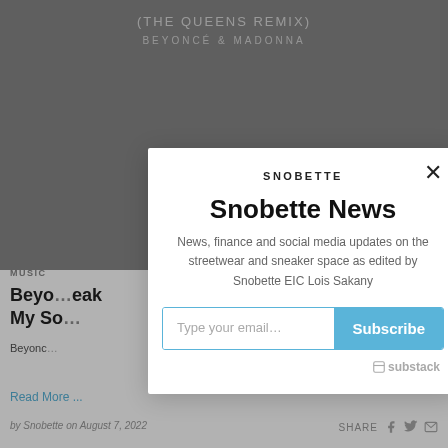[Figure (screenshot): Album art background showing text '(THE QUEENS REMIX)' and 'BEYONCÉ & MADONNA' on a dark gray circular vinyl record graphic]
MUSIC
Beyo... eak My So...
Beyonc... lbum with a re...
Read More ...
by Snobette on August 7, 2022
[Figure (screenshot): Newsletter subscription modal popup for Snobette News with email input and Subscribe button. Contains SNOBETTE logo, title 'Snobette News', description 'News, finance and social media updates on the streetwear and sneaker space as edited by Snobette EIC Lois Sakany', email input field with placeholder 'Type your email...', blue Subscribe button, and Substack branding at bottom right.]